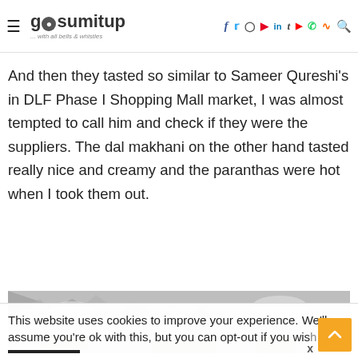gosumitup ... with all bells & whistles — navigation with social icons
And then they tasted so similar to Sameer Qureshi's in DLF Phase I Shopping Mall market, I was almost tempted to call him and check if they were the suppliers. The dal makhani on the other hand tasted really nice and creamy and the paranthas were hot when I took them out.
[Figure (photo): Foil-wrapped food items, partially visible at the bottom of the page]
This website uses cookies to improve your experience. We'll assume you're ok with this, but you can opt-out if you wish.